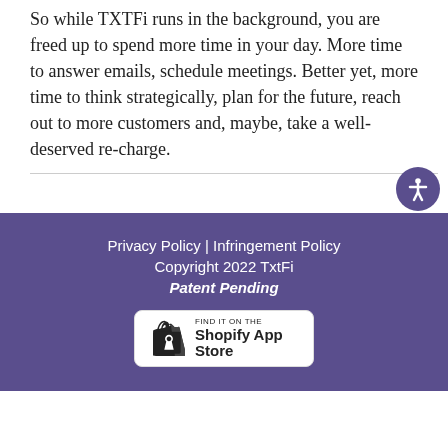So while TXTFi runs in the background, you are freed up to spend more time in your day. More time to answer emails, schedule meetings. Better yet, more time to think strategically, plan for the future, reach out to more customers and, maybe, take a well-deserved re-charge.
Privacy Policy | Infringement Policy
Copyright 2022 TxtFi
Patent Pending
[Figure (logo): Find it on the Shopify App Store badge with Shopify bag icon]